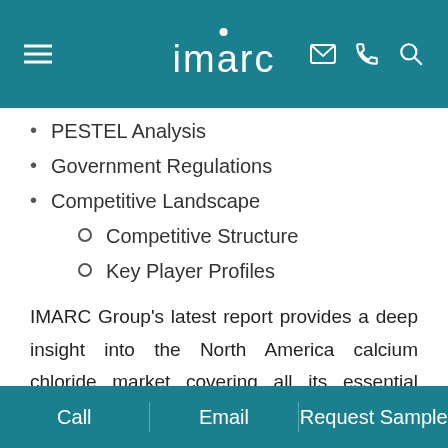imarc
PESTEL Analysis
Government Regulations
Competitive Landscape
Competitive Structure
Key Player Profiles
IMARC Group's latest report provides a deep insight into the North America calcium chloride market covering all its essential aspects. This ranges from macro overview of the market to micro details of the industry performance, recent trends, key market drivers and challenges, SWOT analysis, Porter's five forces analysis, value chain analysis, etc. This report is a must-read for industry players, investors, researchers, consultants, business
Call   Email   Request Sample